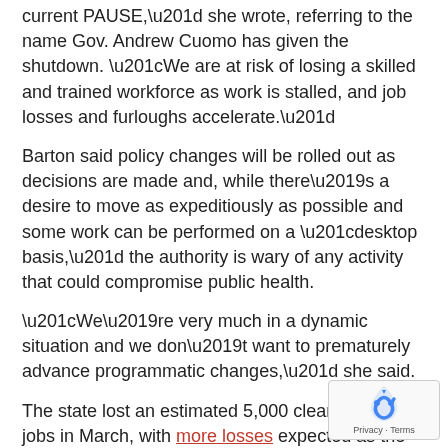current PAUSE,” she wrote, referring to the name Gov. Andrew Cuomo has given the shutdown. “We are at risk of losing a skilled and trained workforce as work is stalled, and job losses and furloughs accelerate.”
Barton said policy changes will be rolled out as decisions are made and, while there’s a desire to move as expeditiously as possible and some work can be performed on a “desktop basis,” the authority is wary of any activity that could compromise public health.
“We’re very much in a dynamic situation and we don’t want to prematurely advance programmatic changes,” she said.
The state lost an estimated 5,000 clean energy jobs in March, with more losses expected as the full impact of Gov. Andrew Cuomo’s order shutting down much of the economy beginning March 22 is felt.
NYSERDA halts work